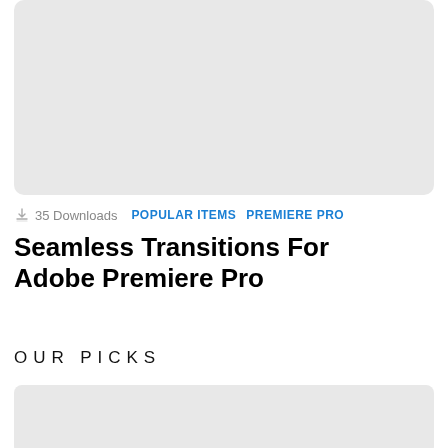[Figure (photo): Large grey placeholder image at top of page with rounded corners]
35 Downloads   POPULAR ITEMS   PREMIERE PRO
Seamless Transitions For Adobe Premiere Pro
OUR PICKS
[Figure (photo): Grey placeholder image at bottom of page with rounded corners]